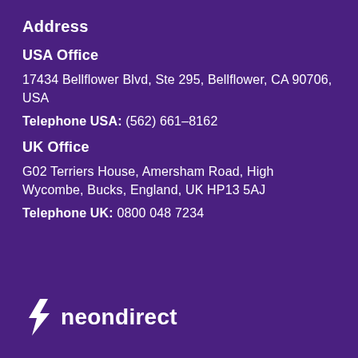Address
USA Office
17434 Bellflower Blvd, Ste 295, Bellflower, CA 90706, USA
Telephone USA: (562) 661-8162
UK Office
G02 Terriers House, Amersham Road, High Wycombe, Bucks, England, UK HP13 5AJ
Telephone UK: 0800 048 7234
[Figure (logo): Neondirect logo: lightning bolt icon followed by the word 'neondirect' in white bold text on purple background]